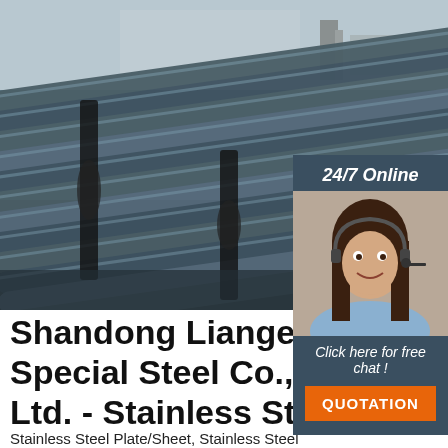[Figure (photo): Stacked steel rods/rebar in an industrial yard, viewed from an angle showing many parallel cylindrical steel bars bundled together, with industrial buildings and cranes visible in the background.]
[Figure (infographic): 24/7 Online chat widget with a woman wearing a headset, dark blue background, 'Click here for free chat!' text in white italic, and an orange 'QUOTATION' button.]
Shandong Liange Special Steel Co., Ltd. - Stainless Steel ...
[Figure (logo): Orange and dark triangle/mountain-shaped TOP logo with orange text 'TOP' below.]
Stainless Steel Plate/Sheet, Stainless Steel